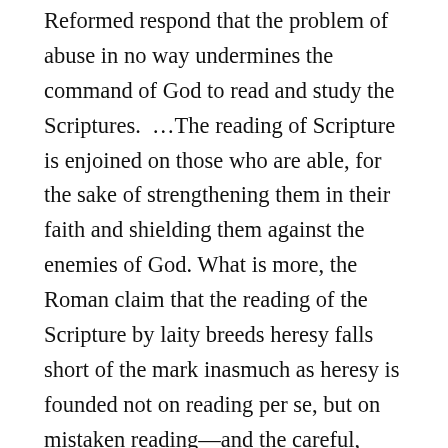Reformed respond that the problem of abuse in no way undermines the command of God to read and study the Scriptures.  …The reading of Scripture is enjoined on those who are able, for the sake of strengthening them in their faith and shielding them against the enemies of God. What is more, the Roman claim that the reading of the Scripture by laity breeds heresy falls short of the mark inasmuch as heresy is founded not on reading per se, but on mistaken reading—and the careful, informed, and reverent reading of Scripture will preserve the faithful from the errors of the heretics. As for the...